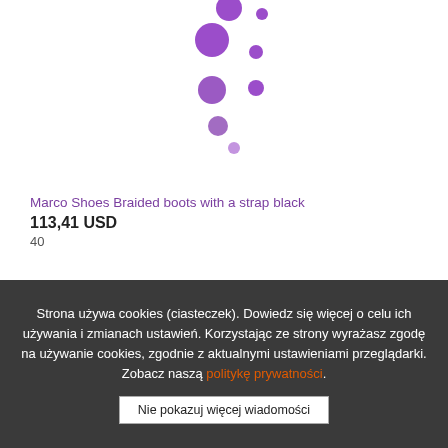[Figure (other): Purple loading spinner animation consisting of multiple circles of varying sizes arranged in a circular/arc pattern on white background]
Marco Shoes Braided boots with a strap black
113,41 USD
40
Strona używa cookies (ciasteczek). Dowiedz się więcej o celu ich używania i zmianach ustawień. Korzystając ze strony wyrażasz zgodę na używanie cookies, zgodnie z aktualnymi ustawieniami przeglądarki. Zobacz naszą politykę prywatności.
Nie pokazuj więcej wiadomości